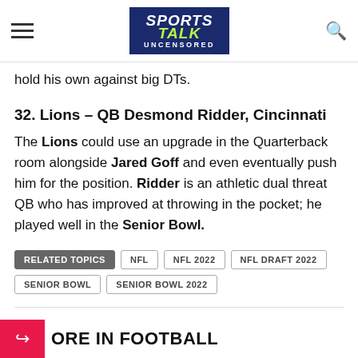Sports Talk Uncensored
hold his own against big DTs.
32. Lions – QB Desmond Ridder, Cincinnati
The Lions could use an upgrade in the Quarterback room alongside Jared Goff and even eventually push him for the position. Ridder is an athletic dual threat QB who has improved at throwing in the pocket; he played well in the Senior Bowl.
RELATED TOPICS  NFL  NFL 2022  NFL DRAFT 2022  SENIOR BOWL  SENIOR BOWL 2022
MORE IN FOOTBALL